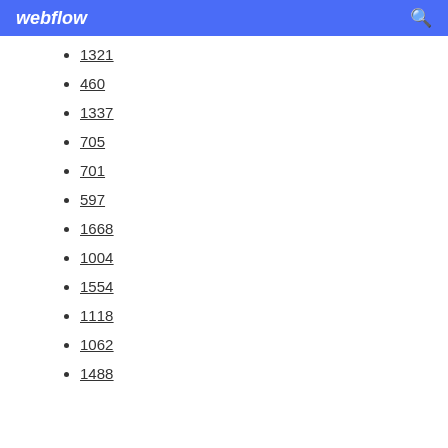webflow
1321
460
1337
705
701
597
1668
1004
1554
1118
1062
1488